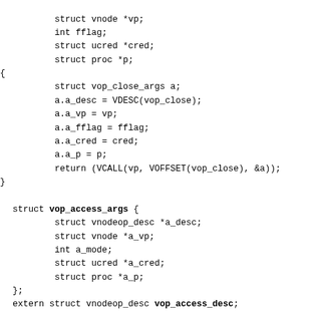struct vnode *vp;
        int fflag;
        struct ucred *cred;
        struct proc *p;
{
        struct vop_close_args a;
        a.a_desc = VDESC(vop_close);
        a.a_vp = vp;
        a.a_fflag = fflag;
        a.a_cred = cred;
        a.a_p = p;
        return (VCALL(vp, VOFFSET(vop_close), &a));
}

struct vop_access_args {
        struct vnodeop_desc *a_desc;
        struct vnode *a_vp;
        int a_mode;
        struct ucred *a_cred;
        struct proc *a_p;
};
extern struct vnodeop_desc vop_access_desc;
#define VOP_ACCESS(vp, mode, cred, p) _VOP_ACCESS(vp, mo
static __inline int _VOP_ACCESS(vp, mode, cred, p)
        struct vnode *vp;
        int mode;
        struct ucred *cred;
        struct proc *p;
{
        struct vop_access_args a;
        a.a_desc = VDESC(...